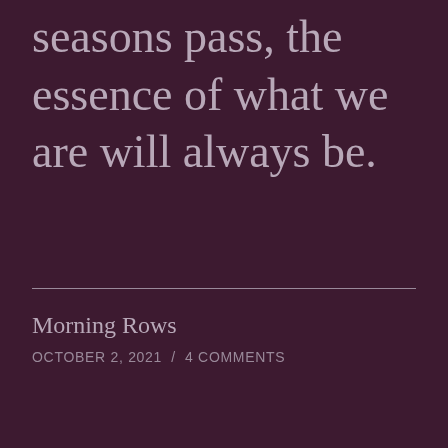him hope that when the seasons pass, the essence of what we are will always be.
Morning Rows
OCTOBER 2, 2021  /  4 COMMENTS